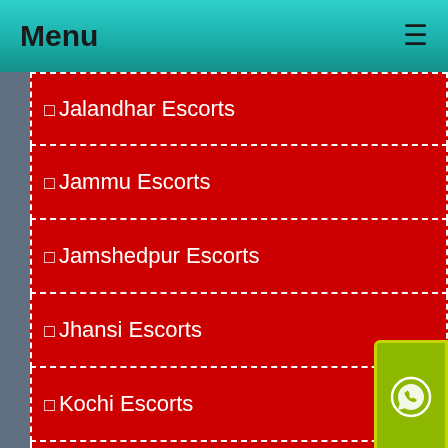Menu
Jalandhar Escorts
Jammu Escorts
Jamshedpur Escorts
Jhansi Escorts
Kochi Escorts
Ludhiana Escorts
Madurai Escorts
Mangalore Escorts
Mussoorie Escorts
Mysore Escorts
Nagpur Escorts